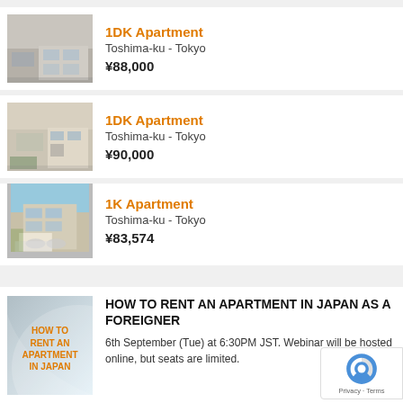[Figure (photo): Exterior photo of a multi-storey apartment building in Tokyo (grey concrete)]
1DK Apartment
Toshima-ku - Tokyo
¥88,000
[Figure (photo): Exterior photo of a two-storey apartment building with vegetation in front]
1DK Apartment
Toshima-ku - Tokyo
¥90,000
[Figure (photo): Exterior photo of a beige modern apartment block with a white car parked outside]
1K Apartment
Toshima-ku - Tokyo
¥83,574
[Figure (illustration): Promotional image with text: HOW TO RENT AN APARTMENT IN JAPAN]
HOW TO RENT AN APARTMENT IN JAPAN AS A FOREIGNER
6th September (Tue) at 6:30PM JST. Webinar will be hosted online, but seats are limited.